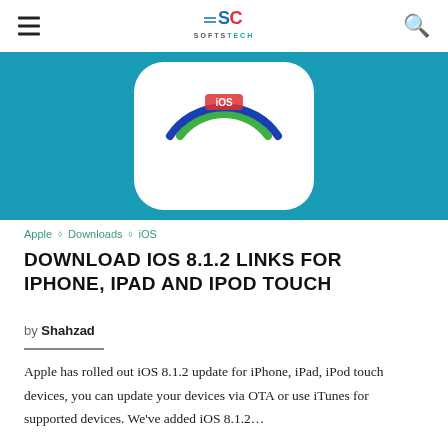SOFTSTECH
[Figure (photo): iOS 8.1.2 update hero image on teal/blue background showing a circular icon with green and blue rings]
Apple ◇ Downloads ◇ iOS
DOWNLOAD IOS 8.1.2 LINKS FOR IPHONE, IPAD AND IPOD TOUCH
by Shahzad
Apple has rolled out iOS 8.1.2 update for iPhone, iPad, iPod touch devices, you can update your devices via OTA or use iTunes for supported devices. We've added iOS 8.1.2…